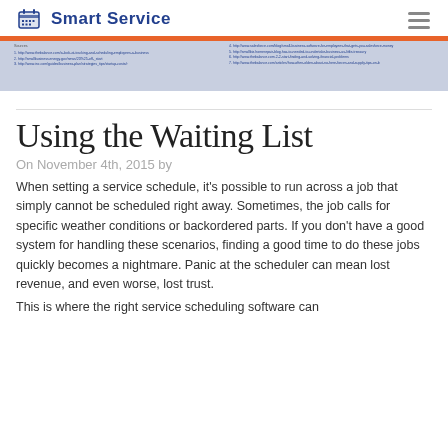Smart Service
[Figure (screenshot): Banner image with orange top bar and two columns of small blue hyperlinks on a light blue/grey snowflake background]
Using the Waiting List
On November 4th, 2015 by
When setting a service schedule, it’s possible to run across a job that simply cannot be scheduled right away. Sometimes, the job calls for specific weather conditions or backordered parts. If you don’t have a good system for handling these scenarios, finding a good time to do these jobs quickly becomes a nightmare. Panic at the scheduler can mean lost revenue, and even worse, lost trust.
This is where the right service scheduling software can